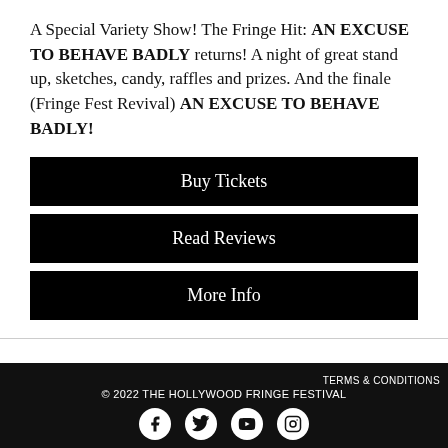A Special Variety Show! The Fringe Hit: AN EXCUSE TO BEHAVE BADLY returns! A night of great stand up, sketches, candy, raffles and prizes. And the finale (Fringe Fest Revival) AN EXCUSE TO BEHAVE BADLY!
Buy Tickets
Read Reviews
More Info
NOOR INAYAT KHAN: The Forgotten Spy
TERMS & CONDITIONS © 2022 THE HOLLYWOOD FRINGE FESTIVAL